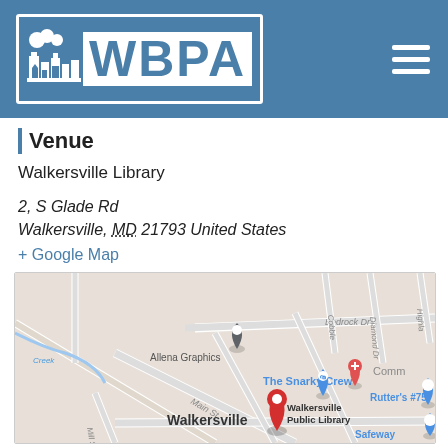[Figure (logo): WBPA logo — white bordered rectangle containing a stylized town skyline icon and large bold letters WBPA, on a steel-blue background with a hamburger menu icon top right]
Venue
Walkersville Library
2, S Glade Rd
Walkersville, MD 21793 United States
+ Google Map
[Figure (map): Google Map showing Walkersville area with a red pin on Walkersville Public Library (2 S Glade Rd), and nearby landmarks including Allena Graphics, The Snarky Crew, Rutter's #75, Safeway, Bedrock Dr, Diamond Dr, Cobble, Main St, Creek labels visible.]